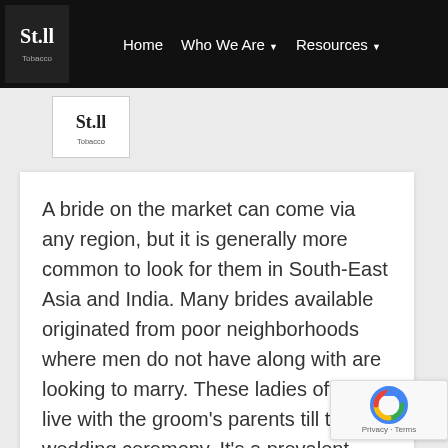Home   Who We Are ▾   Resources ▾
[Figure (logo): Still Tobacco logo (small version) below navigation bar]
A bride on the market can come via any region, but it is generally more common to look for them in South-East Asia and India. Many brides available originated from poor neighborhoods where men do not have along with are looking to marry. These ladies often live with the groom's parents till their wedding ceremony. It's a prevalent practice to acquire a bride on the whim, nevertheless there are some key